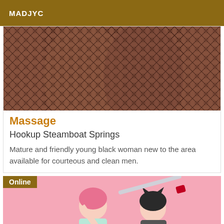MADJYC
[Figure (photo): Close-up photo of legs wearing black fishnet stockings]
Massage
Hookup Steamboat Springs
Mature and friendly young black woman new to the area available for courteous and clean men.
[Figure (photo): Two young women posing on a pink background, one with pink hair and one with dark hair wearing cat ears, holding a baseball bat]